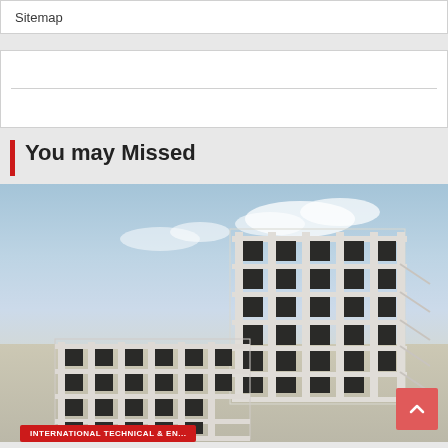Sitemap
[Figure (other): White box with horizontal divider line, likely an advertisement or placeholder content area]
You may Missed
[Figure (photo): 3D architectural/structural model of a multi-story building frame showing steel or concrete skeleton structure against a cloudy blue sky background]
INTERNATIONAL TECHNICAL & EN...